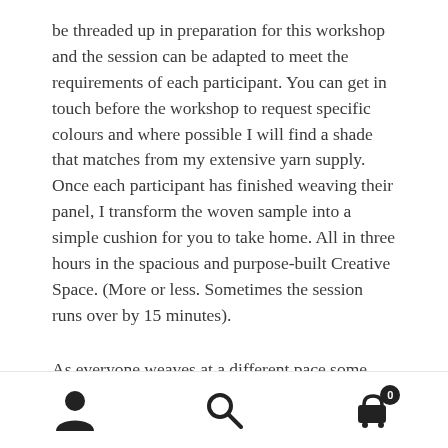be threaded up in preparation for this workshop and the session can be adapted to meet the requirements of each participant. You can get in touch before the workshop to request specific colours and where possible I will find a shade that matches from my extensive yarn supply. Once each participant has finished weaving their panel, I transform the woven sample into a simple cushion for you to take home. All in three hours in the spacious and purpose-built Creative Space. (More or less. Sometimes the session runs over by 15 minutes).
As everyone weaves at a different pace some might finish before the end of the workshop advertised time. In these instances, an additional loom is prepared for you to weave
[navigation icons: user, search, cart(0)]